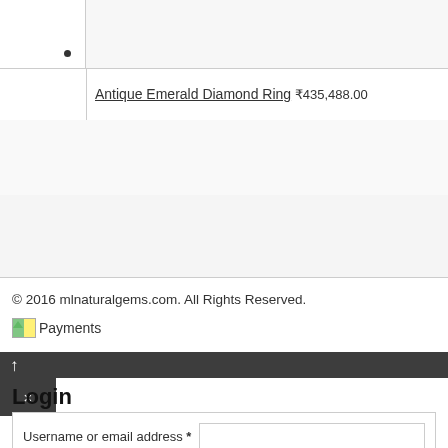•
Antique Emerald Diamond Ring ₹435,488.00
[Figure (photo): Product image placeholder for Antique Emerald Diamond Ring]
© 2016 mlnaturalgems.com. All Rights Reserved.
[Figure (other): Payments image]
↑
×
Login
Username or email address *
Password *
Login
Remember me